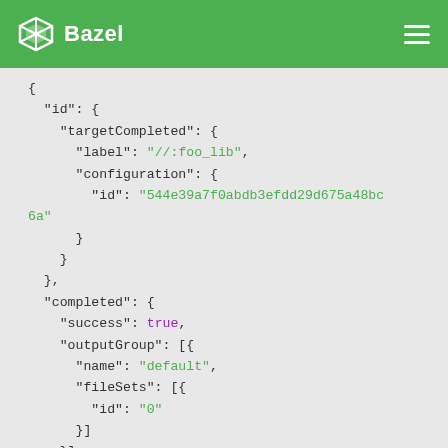Bazel
[Figure (screenshot): JSON code block showing a Bazel build event structure with fields: id (targetCompleted with label '//: foo_lib' and configuration id), completed (success: true, outputGroup with name 'default' and fileSets id '0'), and targetKind 'sh_library rule']